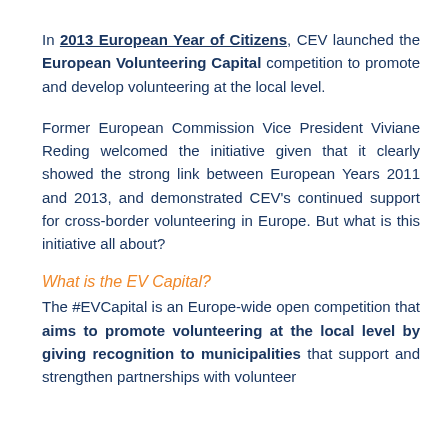In 2013 European Year of Citizens, CEV launched the European Volunteering Capital competition to promote and develop volunteering at the local level.
Former European Commission Vice President Viviane Reding welcomed the initiative given that it clearly showed the strong link between European Years 2011 and 2013, and demonstrated CEV’s continued support for cross-border volunteering in Europe. But what is this initiative all about?
What is the EV Capital?
The #EVCapital is an Europe-wide open competition that aims to promote volunteering at the local level by giving recognition to municipalities that support and strengthen partnerships with volunteer